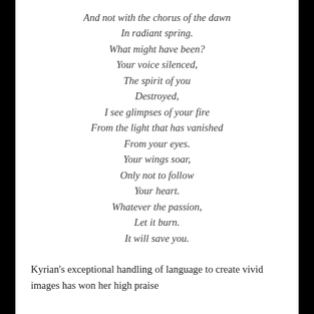And not with the chorus of the dawn
In radiant spring.
What might have been?
Your voice silenced,
The spirit of you
Destroyed,
I see glimpses of your fire
From the light that has vanished
From your eyes.
Your wings soar,
Only not to follow
Your heart.
Whatever the passion,
Let it burn.
It will save you.
Kyrian's exceptional handling of language to create vivid images has won her high praise...